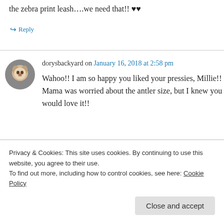the zebra print leash….we need that!! ♥♥
↪ Reply
dorysbackyard on January 16, 2018 at 2:58 pm
Wahoo!! I am so happy you liked your pressies, Millie!! Mama was worried about the antler size, but I knew you would love it!!
Privacy & Cookies: This site uses cookies. By continuing to use this website, you agree to their use.
To find out more, including how to control cookies, see here: Cookie Policy
Close and accept